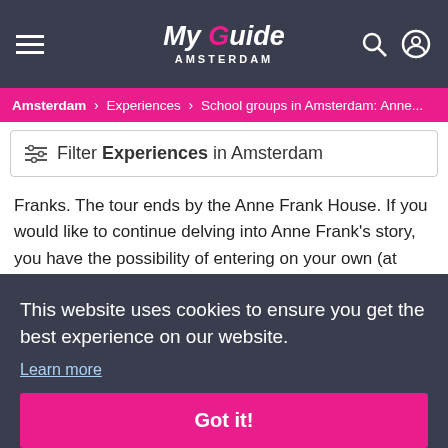My Guide Amsterdam
Amsterdam > Experiences > School groups in Amsterdam: Anne...
Filter Experiences in Amsterdam
Franks. The tour ends by the Anne Frank House. If you would like to continue delving into Anne Frank's story, you have the possibility of entering on your own (at your own expense) when its doors open to the public at 15:30. Please note that there can be long lines at the
This website uses cookies to ensure you get the best experience on our website.
Learn more
Got it!